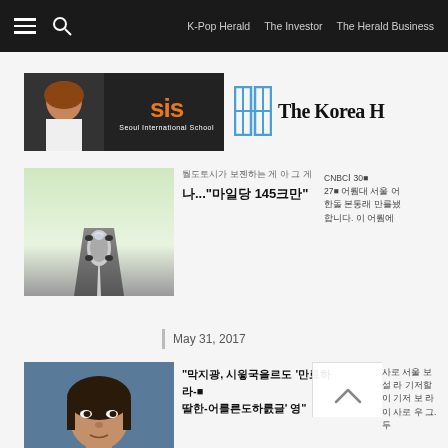K-Pop Herald  The Investor  The Herald Business
[Figure (screenshot): Seoul International School (SIS) advertisement banner with a student photo and orange SIS logo on dark background]
[Figure (logo): The Korea Herald masthead logo with H icon]
[Figure (photo): Aerial view of a car on a highway road]
...".....145...."
CNBC 30 27 ...
May 31, 2017
[Figure (photo): Portrait photo of an Asian woman with dark hair]
"....., ......... '.......-. .......' .."
...